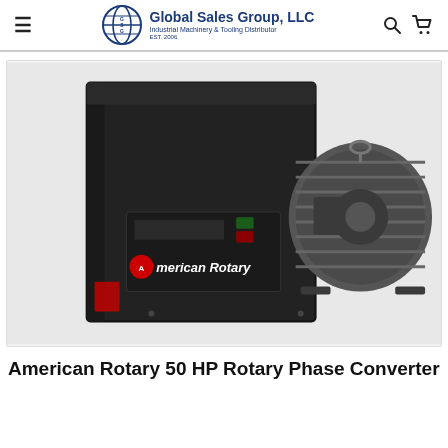Global Sales Group, LLC – Industrial Machinery & Tooling Distributor EST. 2006
[Figure (photo): American Rotary 50 HP Rotary Phase Converter product photo showing a black metal control enclosure with an American Rotary logo and start/stop switch, connected to a large industrial motor on the right side.]
American Rotary 50 HP Rotary Phase Converter